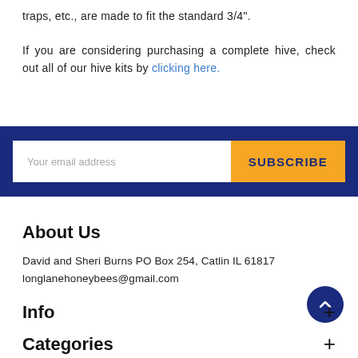traps, etc., are made to fit the standard 3/4".
If you are considering purchasing a complete hive, check out all of our hive kits by clicking here.
[Figure (other): Email subscription bar with dark blue background, white email input field placeholder 'Your email address', and orange SUBSCRIBE button]
About Us
David and Sheri Burns PO Box 254, Catlin IL 61817
longlanehoneybees@gmail.com
Info
Categories